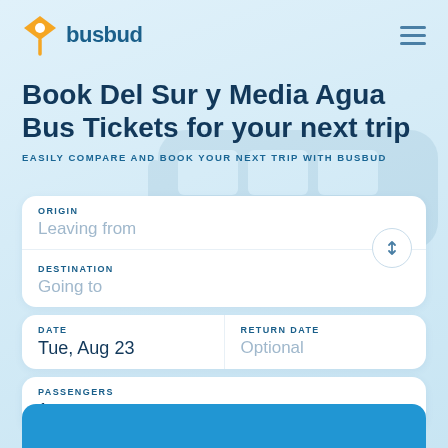[Figure (logo): Busbud logo with orange diamond pin icon and blue 'busbud' text]
Book Del Sur y Media Agua Bus Tickets for your next trip
EASILY COMPARE AND BOOK YOUR NEXT TRIP WITH BUSBUD
ORIGIN
Leaving from
DESTINATION
Going to
DATE
Tue, Aug 23
RETURN DATE
Optional
PASSENGERS
1 passenger